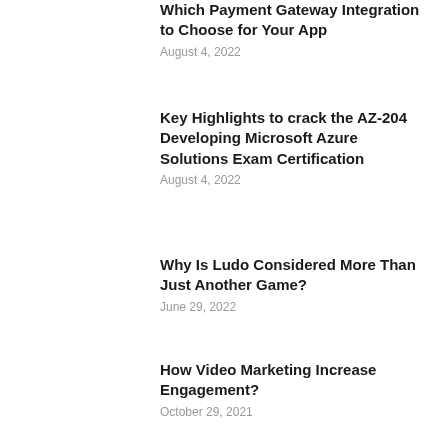Which Payment Gateway Integration to Choose for Your App
August 4, 2022
Key Highlights to crack the AZ-204 Developing Microsoft Azure Solutions Exam Certification
August 4, 2022
Why Is Ludo Considered More Than Just Another Game?
June 29, 2022
How Video Marketing Increase Engagement?
October 29, 2021